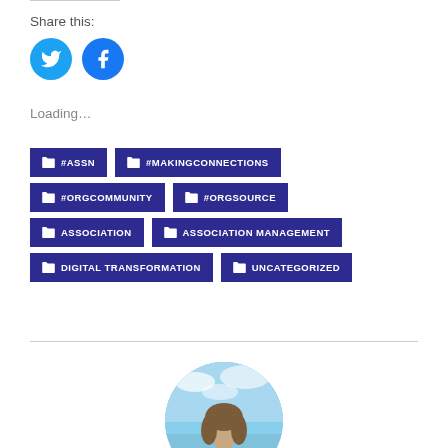Share this:
[Figure (other): Twitter and Facebook social share icon buttons (blue circles with bird and f icons)]
Loading…
#ASSN
#MAKINGCONNECTIONS
#ORGCOMMUNITY
#ORGSOURCE
ASSOCIATION
ASSOCIATION MANAGEMENT
DIGITAL TRANSFORMATION
UNCATEGORIZED
[Figure (photo): Circular cropped photo of a woman outdoors with blue sky and water/marina in background]